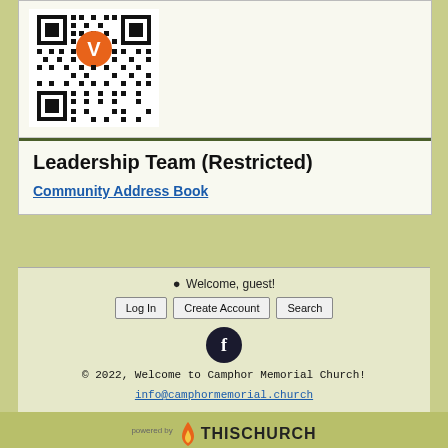[Figure (other): QR code with orange V logo overlay in top center]
Leadership Team (Restricted)
Community Address Book
Welcome, guest!
Log In   Create Account   Search
[Figure (logo): Facebook circular icon (dark circle with white F)]
© 2022, Welcome to Camphor Memorial Church!
info@camphormemorial.church
[Figure (logo): ThisChurch powered by logo with flame icon]
powered by ThisChurch